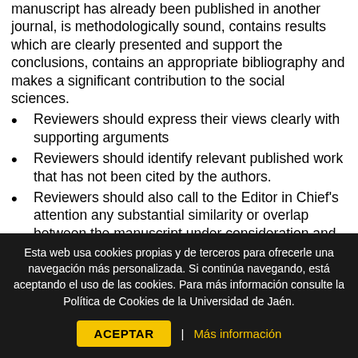manuscript has already been published in another journal, is methodologically sound, contains results which are clearly presented and support the conclusions, contains an appropriate bibliography and makes a significant contribution to the social sciences.
Reviewers should express their views clearly with supporting arguments
Reviewers should identify relevant published work that has not been cited by the authors.
Reviewers should also call to the Editor in Chief's attention any substantial similarity or overlap between the manuscript under consideration and any other published paper of which they have personal knowledge.
Reviewers should not review manuscripts in which they have conflicts of interest resulting from competitive, collaborative, or other relationships or connections with
Esta web usa cookies propias y de terceros para ofrecerle una navegación más personalizada. Si continúa navegando, está aceptando el uso de las cookies. Para más información consulte la Política de Cookies de la Universidad de Jaén.
ACEPTAR | Más información